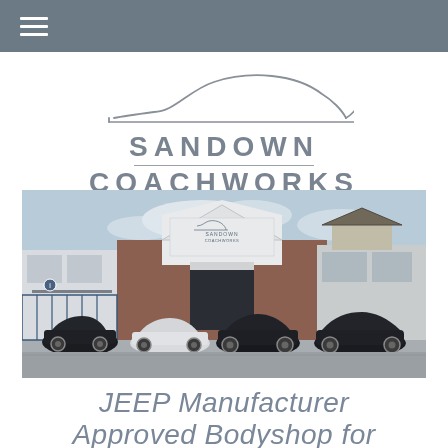≡ (hamburger menu)
[Figure (logo): Sandown Coachworks logo with car silhouette above the text SANDOWN COACHWORKS]
[Figure (photo): Exterior photo of Sandown Coachworks bodyshop building with four luxury/sports cars parked in front including a black Corvette, white BMW, black Bentley, and black Mercedes SL]
JEEP Manufacturer Approved Bodyshop for